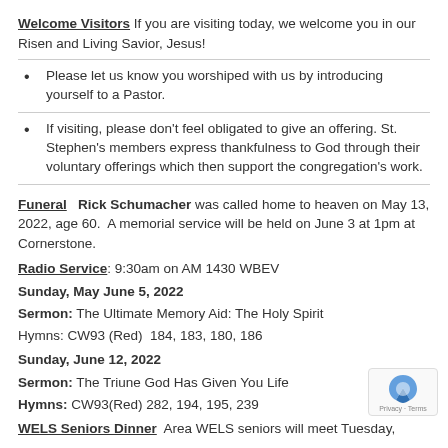Welcome Visitors If you are visiting today, we welcome you in our Risen and Living Savior, Jesus!
Please let us know you worshiped with us by introducing yourself to a Pastor.
If visiting, please don't feel obligated to give an offering. St. Stephen's members express thankfulness to God through their voluntary offerings which then support the congregation's work.
Funeral   Rick Schumacher was called home to heaven on May 13, 2022, age 60.  A memorial service will be held on June 3 at 1pm at Cornerstone.
Radio Service: 9:30am on AM 1430 WBEV
Sunday, May June 5, 2022
Sermon: The Ultimate Memory Aid: The Holy Spirit
Hymns: CW93 (Red)  184, 183, 180, 186
Sunday, June 12, 2022
Sermon: The Triune God Has Given You Life
Hymns: CW93(Red) 282, 194, 195, 239
WELS Seniors Dinner  Area WELS seniors will meet Tuesday,